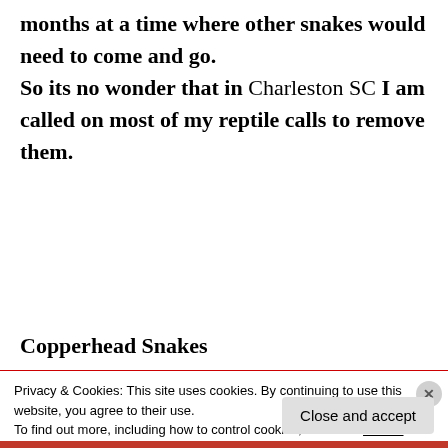months at a time where other snakes would need to come and go. So its no wonder that in Charleston SC I am called on most of my reptile calls to remove them.
Copperhead Snakes or Agkistrodon Contortrix
Privacy & Cookies: This site uses cookies. By continuing to use this website, you agree to their use. To find out more, including how to control cookies, see here: Cookie Policy